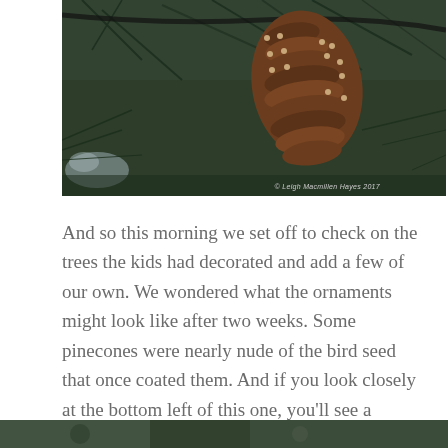[Figure (photo): Close-up photograph of a pine cone on evergreen branches with needles. A blur of gray in the bottom left corner suggests a chickadee bird in motion. Copyright watermark reads '© Leigh Macmillen Hayes 2017' in the lower right.]
And so this morning we set off to check on the trees the kids had decorated and add a few of our own. We wondered what the ornaments might look like after two weeks. Some pinecones were nearly nude of the bird seed that once coated them. And if you look closely at the bottom left of this one, you'll see a splash of gray–a chickadee moved quickly as it snatched seeds.
[Figure (photo): Bottom portion of another nature photograph, partially visible at the bottom edge of the page.]